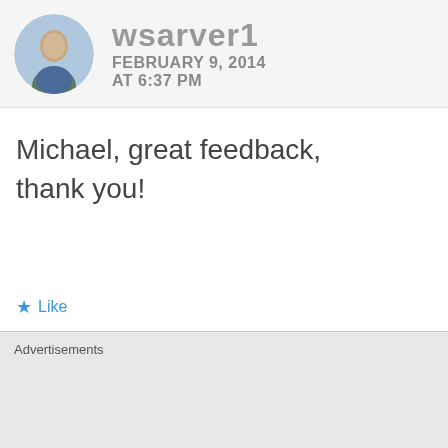[Figure (photo): Circular avatar photo of a man, partially visible at top of page]
wsarver1
FEBRUARY 9, 2014
AT 6:37 PM
Michael, great feedback, thank you!
Like
REPLY
[Figure (photo): Circular avatar/logo image partially visible at bottom, appears to be a nature scene with bear]
CRRNELi...
Advertisements